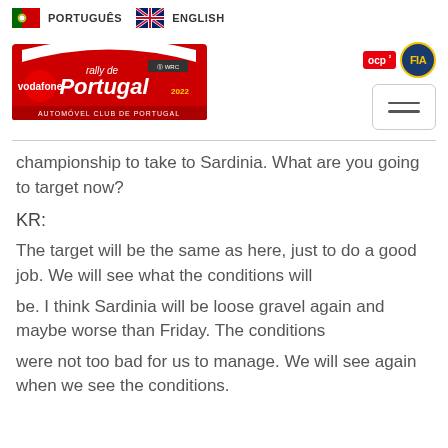PORTUGUÊS  ENGLISH
[Figure (logo): Rally de Portugal 2022 Vodafone logo with red arch design and Automóvel Club de Portugal text]
[Figure (logo): OCP and FIA logos in top right]
championship to take to Sardinia. What are you going to target now?
KR:
The target will be the same as here, just to do a good job. We will see what the conditions will
be. I think Sardinia will be loose gravel again and maybe worse than Friday. The conditions
were not too bad for us to manage. We will see again when we see the conditions.